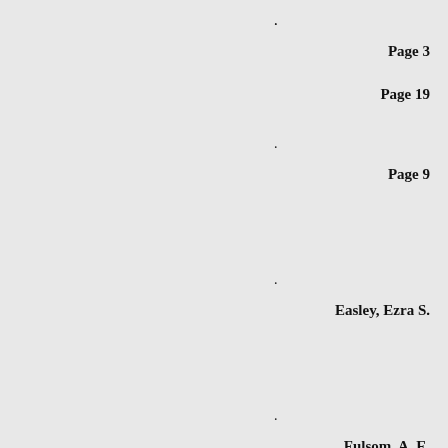. Page 19
. Page 3
. Page 9
. Easley, Ezra S.
. Fulsom, A. E.
.